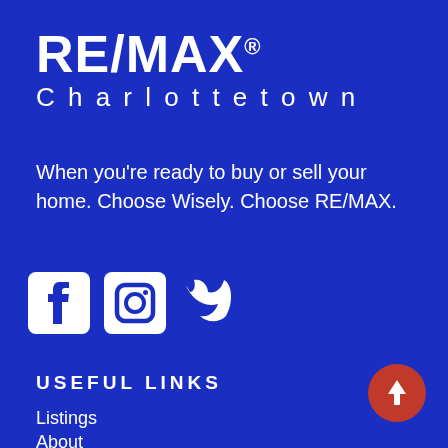RE/MAX® Charlottetown
When you're ready to buy or sell your home. Choose Wisely. Choose RE/MAX.
[Figure (illustration): Three social media icons: Facebook, Instagram, Twitter (white on blue background)]
USEFUL LINKS
Listings
About